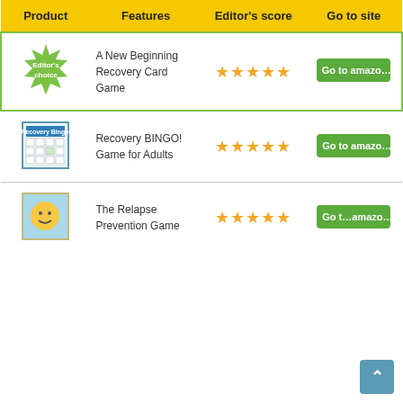| Product | Features | Editor's score | Go to site |
| --- | --- | --- | --- |
| [Editor's choice badge] | A New Beginning Recovery Card Game | ★★★★★ | Go to amazon |
| [Recovery BINGO image] | Recovery BINGO! Game for Adults | ★★★★★ | Go to amazon |
| [Relapse Prevention image] | The Relapse Prevention Game | ★★★★★ | Go to amazon |